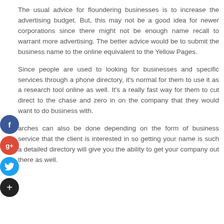The usual advice for floundering businesses is to increase the advertising budget. But, this may not be a good idea for newer corporations since there might not be enough name recall to warrant more advertising. The better advice would be to submit the business name to the online equivalent to the Yellow Pages.
Since people are used to looking for businesses and specific services through a phone directory, it's normal for them to use it as a research tool online as well. It's a really fast way for them to cut direct to the chase and zero in on the company that they would want to do business with.
[Figure (infographic): Social media sharing icons: Facebook (blue circle with f), Google+ (red circle with g+), Twitter (blue circle with bird), Add/Plus (dark circle with +)]
arches can also be done depending on the form of business service that the client is interested in so getting your name is such a detailed directory will give you the ability to get your company out there as well.